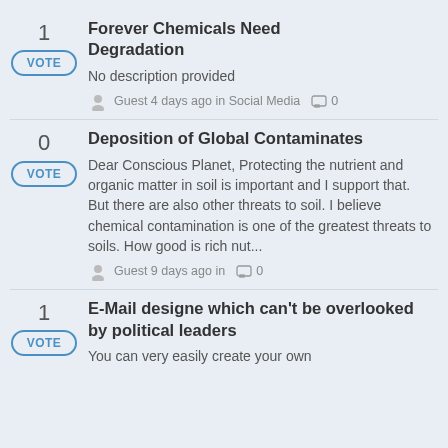1 | VOTE | Forever Chemicals Need Degradation | No description provided | Guest 4 days ago in Social Media | 0 comments
0 | VOTE | Deposition of Global Contaminates | Dear Conscious Planet, Protecting the nutrient and organic matter in soil is important and I support that. But there are also other threats to soil. I believe chemical contamination is one of the greatest threats to soils. How good is rich nut... | Guest 9 days ago in | 0 comments
1 | VOTE | E-Mail designe which can't be overlooked by political leaders | You can very easily create your own...